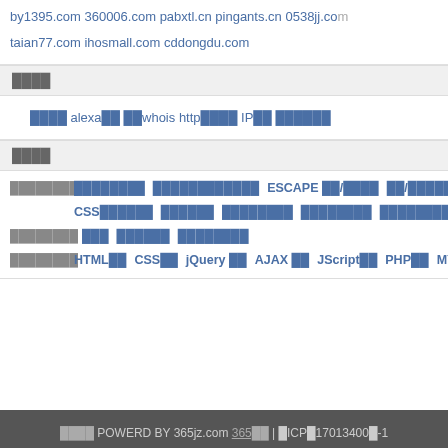by1395.com  360006.com  pabxtl.cn  pingants.cn  0538jj.com  taian77.com  ihosmall.com  cddongdu.com
网站工具
域名查询  alexa查询  站长whois  http状态检测  IP库  友链检测
站长工具
网络编辑工具 在线字数统计 在线HTML/JS压缩工具 ESCAPE 编码/解码 中文/URL转换编码 在线JS压缩工具 在线PSP转换工具 CSS在线工具 在线调色板 在线对比工具 在线取色工具 在线进度条工具 图片处理工具 马赛克 点阵字体工具 在线PS图片 前端开发工具 HTML教程 CSS教程 jQuery 教程 AJAX 教程 JScript教程 PHP教程 MYS
友情链接 POWERD BY 365jz.com 365建站 | 闽ICP备17013400号-1